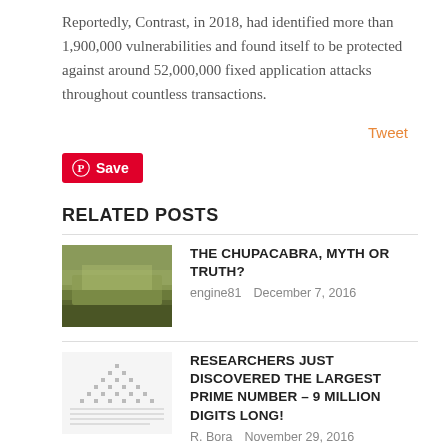Reportedly, Contrast, in 2018, had identified more than 1,900,000 vulnerabilities and found itself to be protected against around 52,000,000 fixed application attacks throughout countless transactions.
Tweet
Save
RELATED POSTS
THE CHUPACABRA, MYTH OR TRUTH?
engine81   December 7, 2016
RESEARCHERS JUST DISCOVERED THE LARGEST PRIME NUMBER – 9 MILLION DIGITS LONG!
R. Bora   November 29, 2016
THE DEADLIEST ANIMALS IN THE WORLD